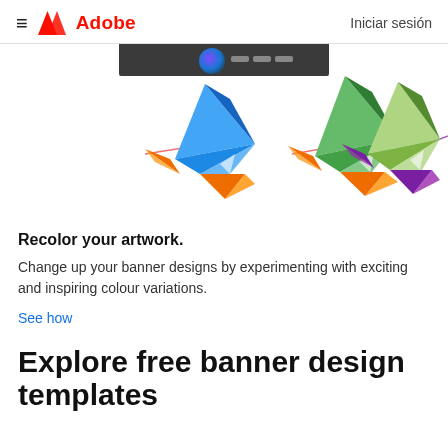≡  Adobe   Iniciar sesión
[Figure (illustration): Three origami paper bird illustrations in different color schemes: first bird in blue/orange, second in green/orange, third in green/purple. A dark software UI strip is partially visible at the top. Red and purple diagonal lines extend from the birds.]
Recolor your artwork.
Change up your banner designs by experimenting with exciting and inspiring colour variations.
See how
Explore free banner design templates